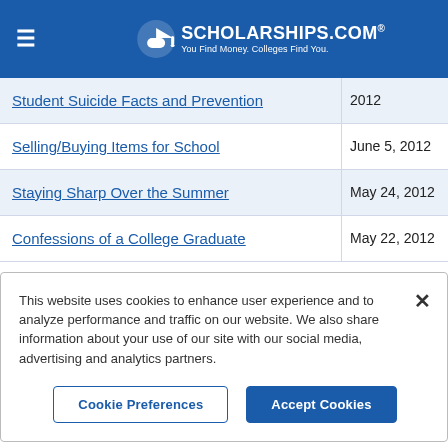SCHOLARSHIPS.COM® — You Find Money. Colleges Find You.
Student Suicide Facts and Prevention | 2012
Selling/Buying Items for School | June 5, 2012
Staying Sharp Over the Summer | May 24, 2012
Confessions of a College Graduate | May 22, 2012
This website uses cookies to enhance user experience and to analyze performance and traffic on our website. We also share information about your use of our site with our social media, advertising and analytics partners.